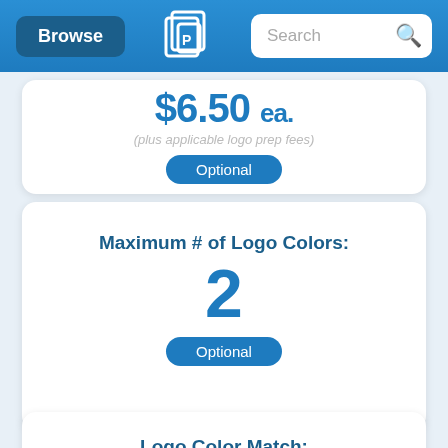[Figure (screenshot): Navigation bar with Browse button, QLP logo, and Search bar]
$6.50 ea.
(plus applicable logo prep fees)
Optional
Maximum # of Logo Colors:
2
Optional
Logo Color Match:
$55.00
(per color)